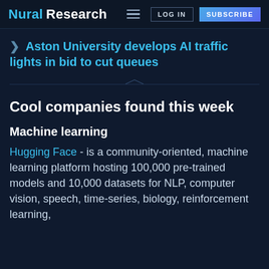Nural Research | LOG IN | SUBSCRIBE
❯ Aston University develops AI traffic lights in bid to cut queues
Cool companies found this week
Machine learning
Hugging Face - is a community-oriented, machine learning platform hosting 100,000 pre-trained models and 10,000 datasets for NLP, computer vision, speech, time-series, biology, reinforcement learning,